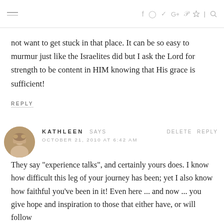Navigation header with hamburger menu and social icons: f, Instagram, Twitter, G+, Pinterest, RSS, Search
not want to get stuck in that place. It can be so easy to murmur just like the Israelites did but I ask the Lord for strength to be content in HIM knowing that His grace is sufficient!
REPLY
KATHLEEN SAYS DELETE REPLY
OCTOBER 21, 2010 AT 6:42 AM
They say "experience talks", and certainly yours does. I know how difficult this leg of your journey has been; yet I also know how faithful you've been in it! Even here ... and now ... you give hope and inspiration to those that either have, or will follow